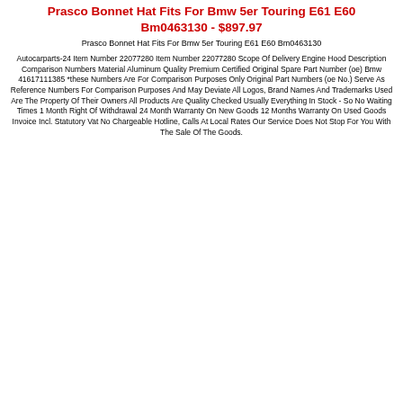Prasco Bonnet Hat Fits For Bmw 5er Touring E61 E60 Bm0463130 - $897.97
Prasco Bonnet Hat Fits For Bmw 5er Touring E61 E60 Bm0463130
Autocarparts-24 Item Number 22077280 Item Number 22077280 Scope Of Delivery Engine Hood Description Comparison Numbers Material Aluminum Quality Premium Certified Original Spare Part Number (oe) Bmw 41617111385 *these Numbers Are For Comparison Purposes Only Original Part Numbers (oe No.) Serve As Reference Numbers For Comparison Purposes And May Deviate All Logos, Brand Names And Trademarks Used Are The Property Of Their Owners All Products Are Quality Checked Usually Everything In Stock - So No Waiting Times 1 Month Right Of Withdrawal 24 Month Warranty On New Goods 12 Months Warranty On Used Goods Invoice Incl. Statutory Vat No Chargeable Hotline, Calls At Local Rates Our Service Does Not Stop For You With The Sale Of The Goods.